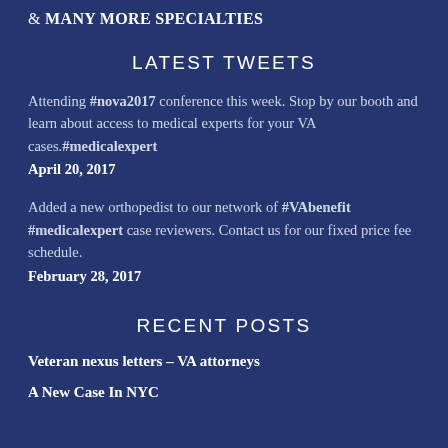& MANY MORE SPECIALTIES
LATEST TWEETS
Attending #nova2017 conference this week. Stop by our booth and learn about access to medical experts for your VA cases.#medicalexpert
April 20, 2017
Added a new orthopedist to our network of #VAbenefit #medicalexpert case reviewers. Contact us for our fixed price fee schedule.
February 28, 2017
RECENT POSTS
Veteran nexus letters – VA attorneys
A New Case In NYC